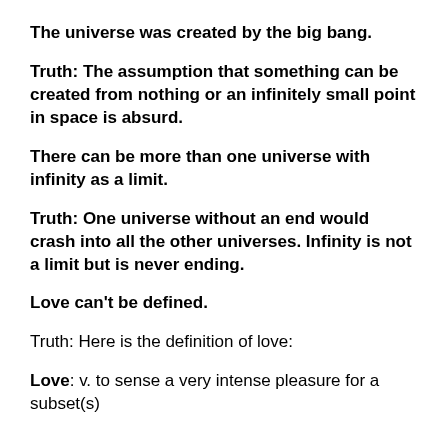The universe was created by the big bang.
Truth: The assumption that something can be created from nothing or an infinitely small point in space is absurd.
There can be more than one universe with infinity as a limit.
Truth: One universe without an end would crash into all the other universes. Infinity is not a limit but is never ending.
Love can't be defined.
Truth: Here is the definition of love:
Love: v. to sense a very intense pleasure for a subset(s)